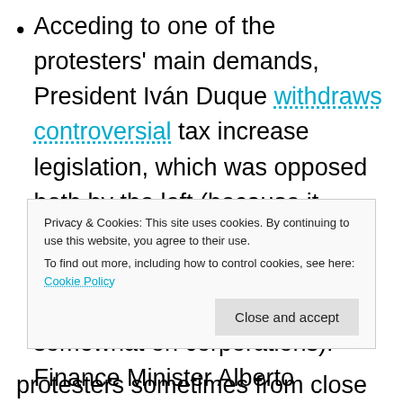Acceding to one of the protesters' main demands, President Iván Duque withdraws controversial tax increase legislation, which was opposed both by the left (because it increased regressive sales taxes) and by the business sector (because it raised taxes somewhat on corporations). Finance Minister Alberto Carrasquilla resigns. Protests continue. The government still faces a budget deficit...
Privacy & Cookies: This site uses cookies. By continuing to use this website, you agree to their use. To find out more, including how to control cookies, see here: Cookie Policy
protesters sometimes from close